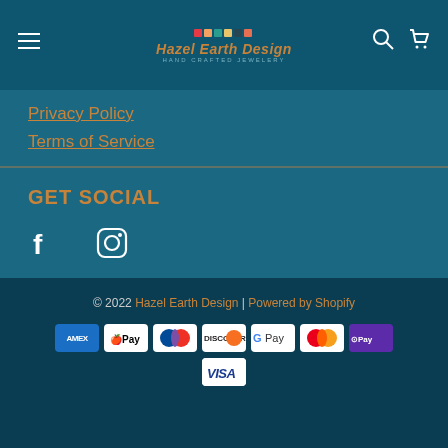Hazel Earth Design — HAND CRAFTED JEWELERY
Privacy Policy
Terms of Service
GET SOCIAL
[Figure (other): Facebook and Instagram social media icons in white on teal background]
© 2022 Hazel Earth Design | Powered by Shopify — Payment icons: AMEX, Apple Pay, Diners Club, Discover, Google Pay, Mastercard, Shop Pay, Visa